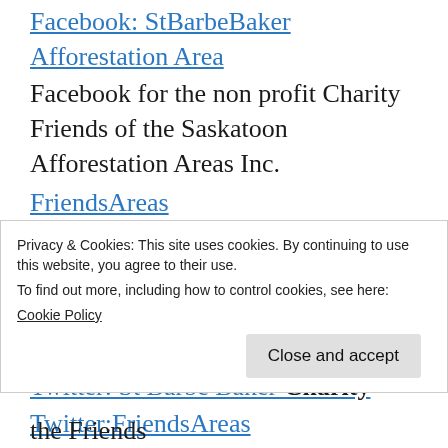Facebook: StBarbeBaker Afforestation Area
Facebook for the non profit Charity Friends of the Saskatoon Afforestation Areas Inc.
FriendsAreas
Facebook group page : Users of the St Barbe Baker Afforestation Area
Facebook: South West OLRA
Reddit: FriendsAfforestation
Twitter: St Barbe Baker Charity
Twitter:FriendsAreas
Mix: friendsareas (partially visible)
Privacy & Cookies: This site uses cookies. By continuing to use this website, you agree to their use.
To find out more, including how to control cookies, see here:
Cookie Policy
Close and accept
afforestation areas, please contact the Friends